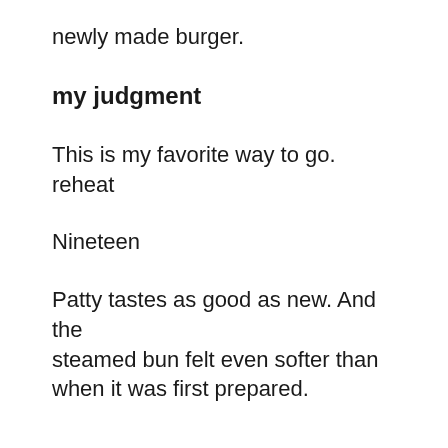newly made burger.
my judgment
This is my favorite way to go. reheat
Nineteen
Patty tastes as good as new. And the steamed bun felt even softer than when it was first prepared.